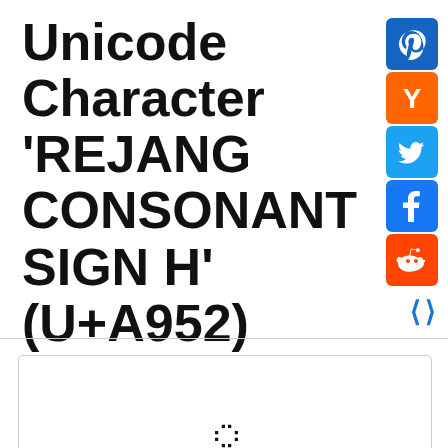Unicode Character 'REJANG CONSONANT SIGN H' (U+A952)
[Figure (other): Social sharing buttons: Pinterest (blue), Hacker News Y (orange), Twitter (light blue), Facebook (blue), Reddit (orange-red)]
[Figure (other): Navigation arrows left and right in blue for previous/next unicode character]
[Figure (other): Character display box showing the Rejang consonant sign H character (U+A952) rendered as two dots]
Browser Test Page
Outline (as SVG file)
Fonts that support U+A952